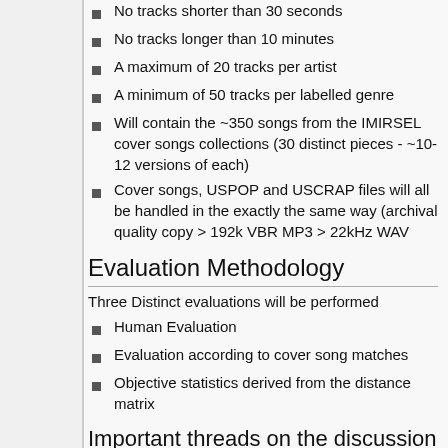No tracks shorter than 30 seconds
No tracks longer than 10 minutes
A maximum of 20 tracks per artist
A minimum of 50 tracks per labelled genre
Will contain the ~350 songs from the IMIRSEL cover songs collections (30 distinct pieces - ~10-12 versions of each)
Cover songs, USPOP and USCRAP files will all be handled in the exactly the same way (archival quality copy > 192k VBR MP3 > 22kHz WAV
Evaluation Methodology
Three Distinct evaluations will be performed
Human Evaluation
Evaluation according to cover song matches
Objective statistics derived from the distance matrix
Important threads on the discussion list